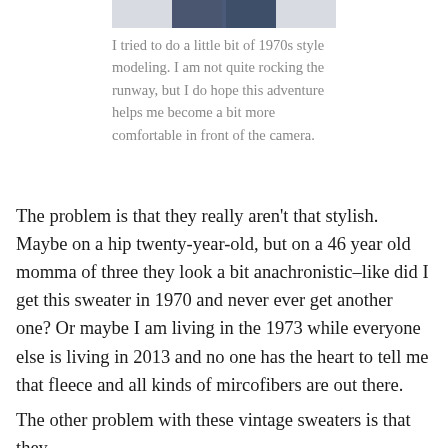[Figure (photo): Partial photo of a person wearing jeans, cropped at the bottom of the frame, showing only the lower half of the image at the top of the page.]
I tried to do a little bit of 1970s style modeling. I am not quite rocking the runway, but I do hope this adventure helps me become a bit more comfortable in front of the camera.
The problem is that they really aren't that stylish. Maybe on a hip twenty-year-old, but on a 46 year old momma of three they look a bit anachronistic–like did I get this sweater in 1970 and never ever get another one? Or maybe I am living in the 1973 while everyone else is living in 2013 and no one has the heart to tell me that fleece and all kinds of mircofibers are out there.
The other problem with these vintage sweaters is that they are VERY itchy. And if there is one thing I don't...